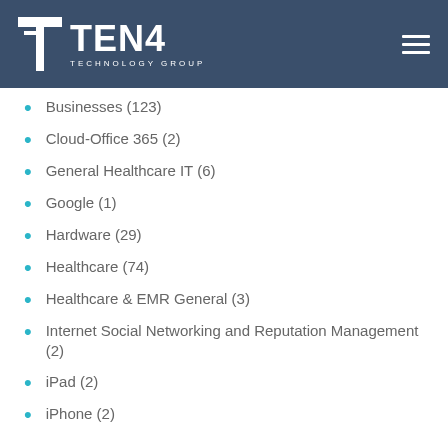TEN4 TECHNOLOGY GROUP
Businesses (123)
Cloud-Office 365 (2)
General Healthcare IT (6)
Google (1)
Hardware (29)
Healthcare (74)
Healthcare & EMR General (3)
Internet Social Networking and Reputation Management (2)
iPad (2)
iPhone (2)